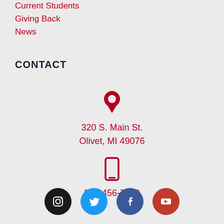Current Students
Giving Back
News
CONTACT
320 S. Main St.
Olivet, MI 49076
800-456-7189
[Figure (infographic): Social media icons row: Instagram (black circle), Twitter (blue circle), Facebook (dark blue circle), YouTube (red circle)]